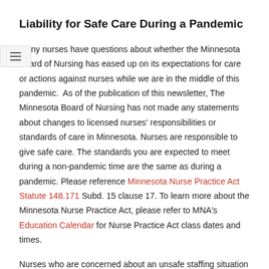Liability for Safe Care During a Pandemic
Many nurses have questions about whether the Minnesota Board of Nursing has eased up on its expectations for care or actions against nurses while we are in the middle of this pandemic.  As of the publication of this newsletter, The Minnesota Board of Nursing has not made any statements about changes to licensed nurses' responsibilities or standards of care in Minnesota. Nurses are responsible to give safe care. The standards you are expected to meet during a non-pandemic time are the same as during a pandemic. Please reference Minnesota Nurse Practice Act Statute 148.171 Subd. 15 clause 17. To learn more about the Minnesota Nurse Practice Act, please refer to MNA's Education Calendar for Nurse Practice Act class dates and times.
Nurses who are concerned about an unsafe staffing situation at